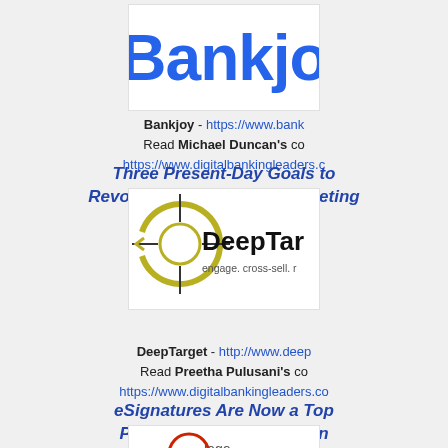[Figure (logo): Bankjoy logo – bold blue text partially cropped on right]
Bankjoy - https://www.bank… Read Michael Duncan's co https://www.digitalbankingleaders.c
Three Present-Day Goals to Revolutionize Your FI's Marketing
[Figure (logo): DeepTarget logo with circular target graphic and tagline 'engage. cross-sell. r']
DeepTarget - http://www.deep Read Preetha Pulusani's co https://www.digitalbankingleaders.co
eSignatures Are Now a Top Priority Across the Nation
[Figure (logo): Partial logo at bottom of page, partially visible]